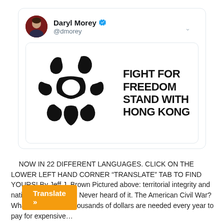[Figure (screenshot): Tweet by Daryl Morey (@dmorey) showing an image with text 'FIGHT FOR FREEDOM STAND WITH HONG KONG' next to a stylized black logo mark.]
NOW IN 22 DIFFERENT LANGUAGES. CLICK ON THE LOWER LEFT HAND CORNER “TRANSLATE” TAB TO FIND YOURS! By Jeff J. Brown Pictured above: territorial integrity and national sovereignty? Never heard of it. The American Civil War? What was that?    Thousands of dollars are needed every year to pay for expensive…
Translate »